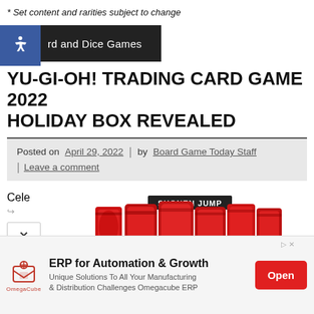* Set content and rarities subject to change
rd and Dice Games
YU-GI-OH! TRADING CARD GAME 2022 HOLIDAY BOX REVEALED
Posted on April 29, 2022 | by Board Game Today Staff | Leave a comment
Cele
[Figure (logo): Yu-Gi-Oh! Shonen Jump logo in red and black stylized text]
[Figure (infographic): Advertisement banner: ERP for Automation & Growth - OmegaCube ERP. Unique Solutions To All Your Manufacturing & Distribution Challenges Omegacube ERP. Open button.]